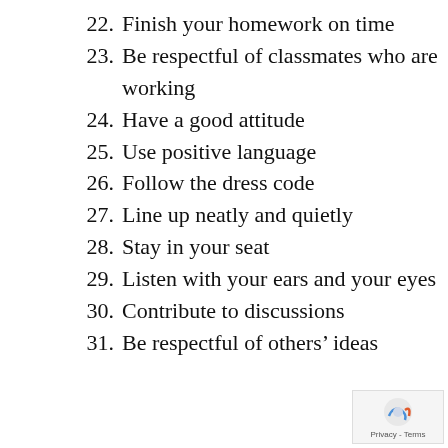22. Finish your homework on time
23. Be respectful of classmates who are working
24. Have a good attitude
25. Use positive language
26. Follow the dress code
27. Line up neatly and quietly
28. Stay in your seat
29. Listen with your ears and your eyes
30. Contribute to discussions
31. Be respectful of others’ ideas